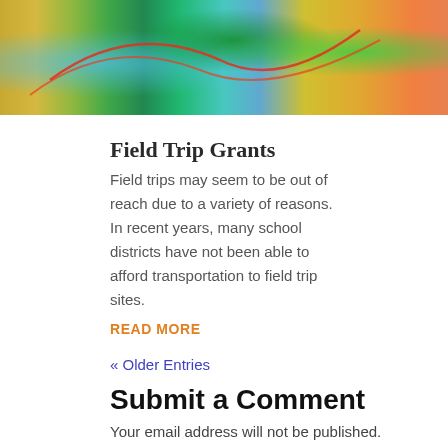[Figure (photo): Colorful photo of an indoor exhibit or event space with green and teal lighting effects, a screen with map imagery, and red curved lines or decorations visible.]
Field Trip Grants
Field trips may seem to be out of reach due to a variety of reasons. In recent years, many school districts have not been able to afford transportation to field trip sites.
READ MORE
« Older Entries
Submit a Comment
Your email address will not be published. Required fields are marked *
Comment *